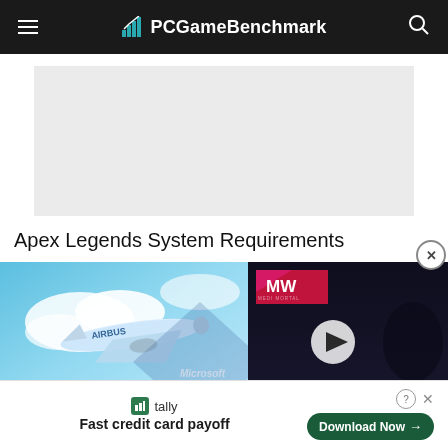PCGameBenchmark
[Figure (other): Gray advertisement placeholder rectangle]
Apex Legends System Requirements
[Figure (screenshot): Microsoft Flight Simulator game screenshot with airplane and clouds on left; video overlay on right showing MW logo badge, play button, and 'ALONE IN THE DARK REMAKE' text in red/white on dark background]
[Figure (other): Bottom advertisement banner: Tally app logo with 'Fast credit card payoff' text and green 'Download Now' button with question mark and close X controls]